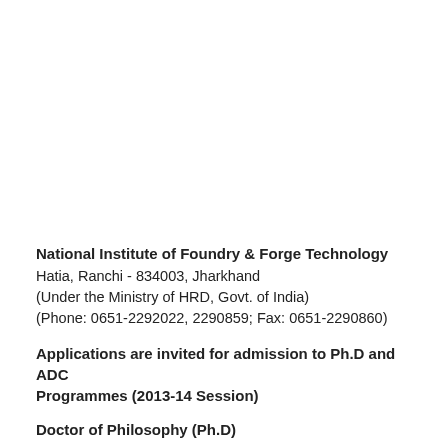National Institute of Foundry & Forge Technology
Hatia, Ranchi - 834003, Jharkhand
(Under the Ministry of HRD, Govt. of India)
(Phone: 0651-2292022, 2290859; Fax: 0651-2290860)
Applications are invited for admission to Ph.D and ADC Programmes (2013-14 Session)
Doctor of Philosophy (Ph.D)